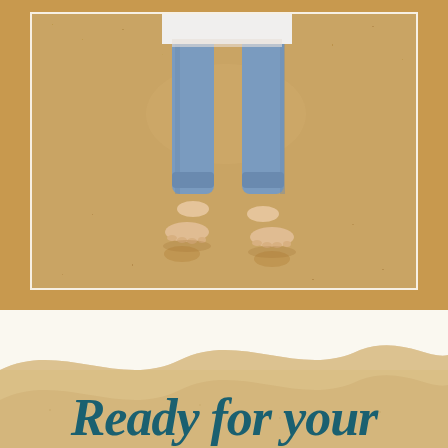[Figure (photo): A child standing barefoot on sandy beach, wearing blue jeans and white top, viewed from waist down, with legs spread apart. Photo has a white border/frame. Sandy beach background with warm golden sand tones.]
Ready for your